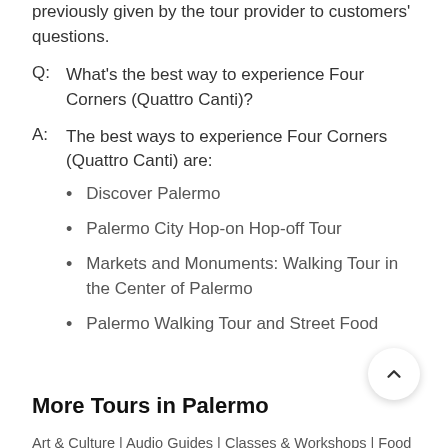previously given by the tour provider to customers' questions.
Q:  What's the best way to experience Four Corners (Quattro Canti)?
A:  The best ways to experience Four Corners (Quattro Canti) are:
Discover Palermo
Palermo City Hop-on Hop-off Tour
Markets and Monuments: Walking Tour in the Center of Palermo
Palermo Walking Tour and Street Food
More Tours in Palermo
Art & Culture | Audio Guides | Classes & Workshops | Food &...